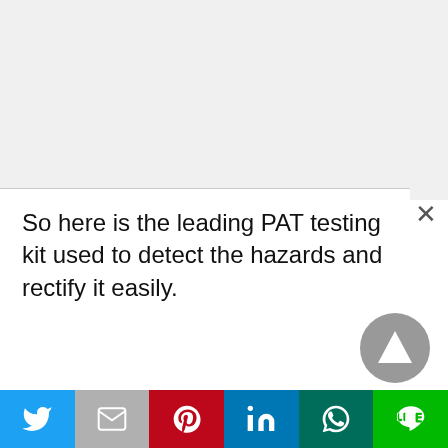So here is the leading PAT testing kit used to detect the hazards and rectify it easily.
[Figure (screenshot): Close button (X) in top-right corner of text bubble]
[Figure (screenshot): Scroll-to-top button (grey circle with upward triangle arrow)]
[Figure (screenshot): Social share bar with Twitter, Gmail, Pinterest, LinkedIn, WhatsApp, and LINE buttons]